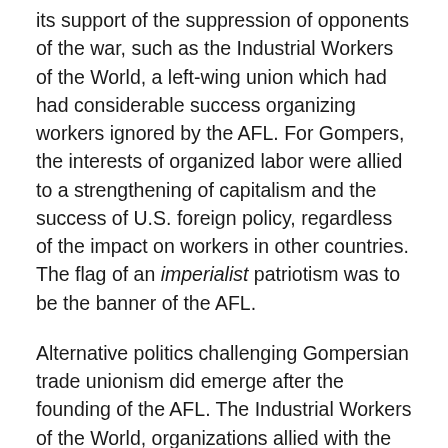its support of the suppression of opponents of the war, such as the Industrial Workers of the World, a left-wing union which had had considerable success organizing workers ignored by the AFL. For Gompers, the interests of organized labor were allied to a strengthening of capitalism and the success of U.S. foreign policy, regardless of the impact on workers in other countries. The flag of an imperialist patriotism was to be the banner of the AFL.
Alternative politics challenging Gompersian trade unionism did emerge after the founding of the AFL. The Industrial Workers of the World, organizations allied with the Communist and Socialist Parties, independent left/progressive currents, and caucus movements of oppressed nationalities have all significantly influenced both the discourse and practice of U.S. trade unionism. Nevertheless, while this alternative politics was sometimes successful, the